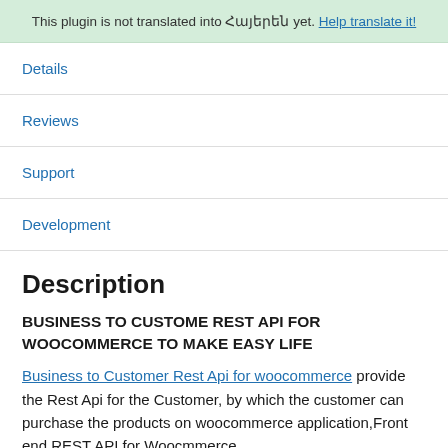This plugin is not translated into Հայերեն yet. Help translate it!
Details
Reviews
Support
Development
Description
BUSINESS TO CUSTOME REST API FOR WOOCOMMERCE TO MAKE EASY LIFE
Business to Customer Rest Api for woocommerce provide the Rest Api for the Customer, by which the customer can purchase the products on woocommerce application,Front end REST API for Woocmmerce